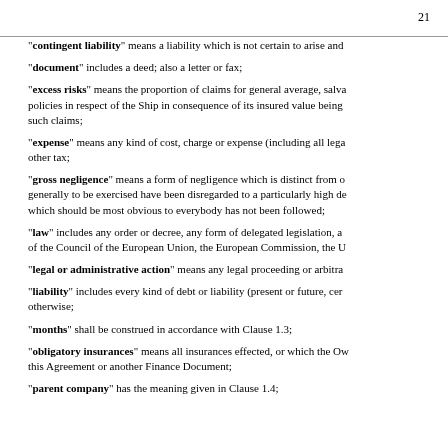21
"contingent liability" means a liability which is not certain to arise and
"document" includes a deed; also a letter or fax;
"excess risks" means the proportion of claims for general average, salva- policies in respect of the Ship in consequence of its insured value being such claims;
"expense" means any kind of cost, charge or expense (including all lega- other tax;
"gross negligence" means a form of negligence which is distinct from o- generally to be exercised have been disregarded to a particularly high de- which should be most obvious to everybody has not been followed;
"law" includes any order or decree, any form of delegated legislation, a- of the Council of the European Union, the European Commission, the U
"legal or administrative action" means any legal proceeding or arbitra-
"liability" includes every kind of debt or liability (present or future, cer- otherwise;
"months" shall be construed in accordance with Clause 1.3;
"obligatory insurances" means all insurances effected, or which the Ow- this Agreement or another Finance Document;
"parent company" has the meaning given in Clause 1.4;